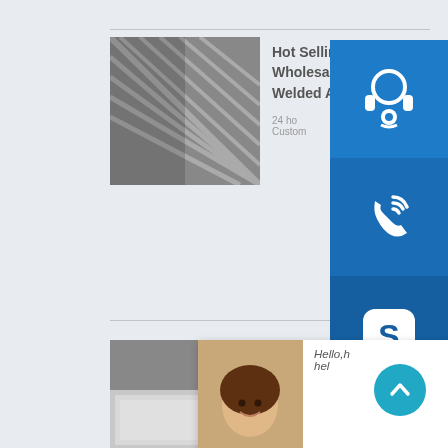[Figure (screenshot): Product listing page for stainless steel products with overlaid chat/contact widgets. Three products are shown: 1) Hot Selling Products Wholesale Welded ASTM 304 Stainless Steel; 2) High Quality 304 Hot Rolled Stainless Steel Plate; 3) China Products Suppliers. 304 316 316L Round Welded. Blue sidebar icons for customer service (headset), phone/call, and Skype. A chat popup with a person photo and 'Chat Now' button. A teal scroll-to-top button.]